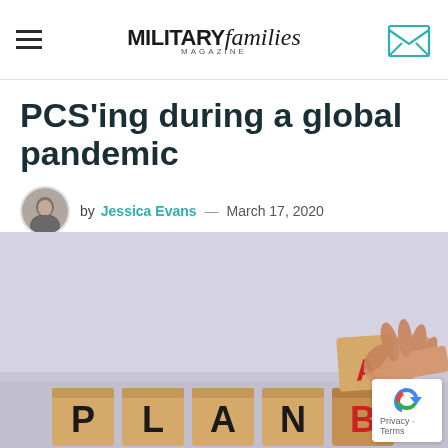MILITARY families MAGAZINE
PCS'ing during a global pandemic
by Jessica Evans — March 17, 2020
[Figure (photo): A hand placing a wooden block with letter 'A' on top of a block with letter 'B', next to other blocks spelling out PLAN B, showing Plan A being switched to Plan B]